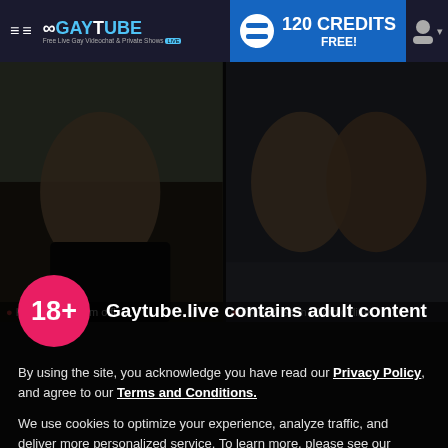≡ ∞GayTube — Free Live Gay Videochat & Private Shows LIVE | 120 CREDITS FREE!
[Figure (screenshot): Thumbnail of young man reclining outdoors — Kyle Flynn - I am offline]
[Figure (screenshot): Thumbnail of two young men — Craig & Sean - I am offline]
Gaytube.live contains adult content
By using the site, you acknowledge you have read our Privacy Policy, and agree to our Terms and Conditions.
We use cookies to optimize your experience, analyze traffic, and deliver more personalized service. To learn more, please see our Privacy Policy.
I AGREE